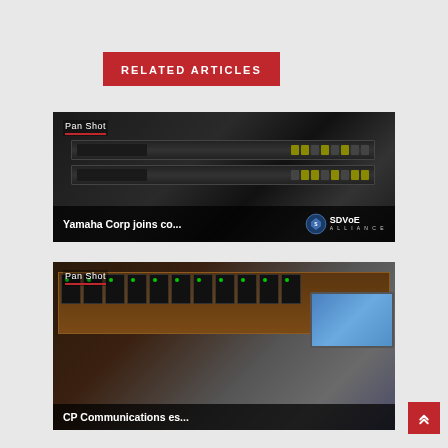RELATED ARTICLES
[Figure (photo): Yamaha network switch hardware shown in a pan shot. Caption area reads 'Yamaha Corp joins co...' with SDVoE Alliance logo.]
Yamaha Corp joins co...
[Figure (photo): Audio/video equipment rack with multiple devices and a laptop shown in a pan shot. Caption reads 'CP Communications es...']
CP Communications es...